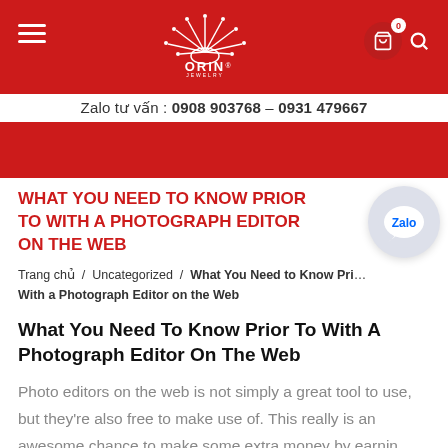ORIN Jewelry — Zalo tư vấn : 0908 903768 – 0931 479667
WHAT YOU NEED TO KNOW PRIOR TO WITH A PHOTOGRAPH EDITOR ON THE WEB
Trang chủ / Uncategorized / What You Need to Know Prior To With a Photograph Editor on the Web
What You Need To Know Prior To With A Photograph Editor On The Web
Photo editors on the web is not simply a great tool to use, but they're also free to make use of. This really is an awesome chance to make some extra money by earning photo editing process more effective.